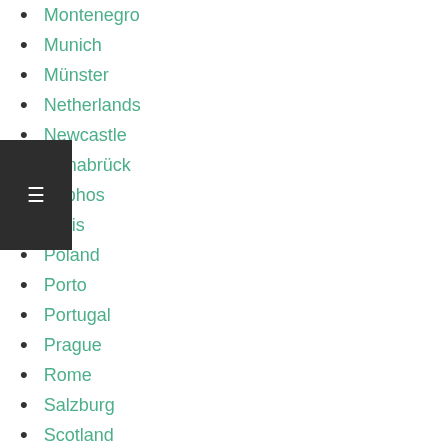Montenegro
Munich
Münster
Netherlands
Newcastle
Osnabrück
Paphos
Paris
Poland
Porto
Portugal
Prague
Rome
Salzburg
Scotland
Seville